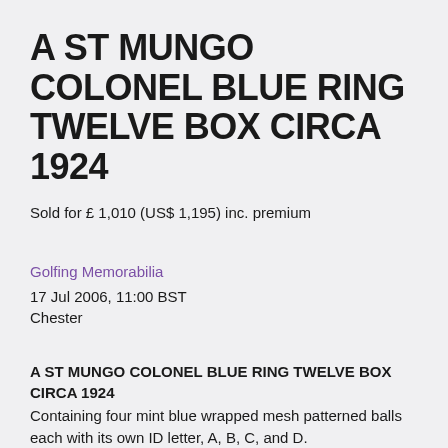A ST MUNGO COLONEL BLUE RING TWELVE BOX CIRCA 1924
Sold for £ 1,010 (US$ 1,195) inc. premium
Golfing Memorabilia
17 Jul 2006, 11:00 BST
Chester
A ST MUNGO COLONEL BLUE RING TWELVE BOX CIRCA 1924
Containing four mint blue wrapped mesh patterned balls each with its own ID letter, A, B, C, and D.